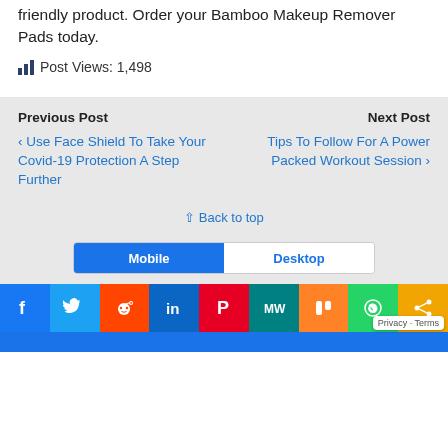friendly product. Order your Bamboo Makeup Remover Pads today.
Post Views: 1,498
Previous Post
Next Post
‹ Use Face Shield To Take Your Covid-19 Protection A Step Further
Tips To Follow For A Power Packed Workout Session ›
⇪ Back to top
Mobile  Desktop
f  Twitter  Reddit  in  Pinterest  MW  Mix  WhatsApp  Share